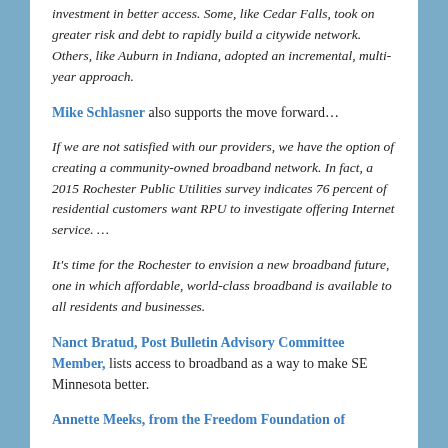investment in better access. Some, like Cedar Falls, took on greater risk and debt to rapidly build a citywide network. Others, like Auburn in Indiana, adopted an incremental, multi-year approach.
Mike Schlasner also supports the move forward…
If we are not satisfied with our providers, we have the option of creating a community-owned broadband network. In fact, a 2015 Rochester Public Utilities survey indicates 76 percent of residential customers want RPU to investigate offering Internet service. …
It's time for the Rochester to envision a new broadband future, one in which affordable, world-class broadband is available to all residents and businesses.
Nanct Bratud, Post Bulletin Advisory Committee Member, lists access to broadband as a way to make SE Minnesota better.
Annette Meeks, from the Freedom Foundation of